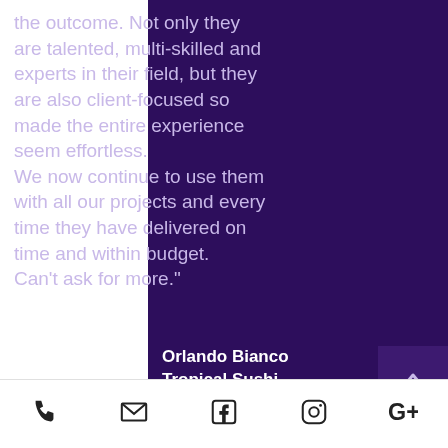the outcome. Not only they are talented, multi-skilled and experts in their field, but they are also client-focused so made the entire experience seem effortless. We now continue to use them with all our projects and every time they have delivered on time and within budget. Can't ask for more."
Orlando Bianco
Tropical Sushi
View project
[phone] [email] [facebook] [instagram] [google+]